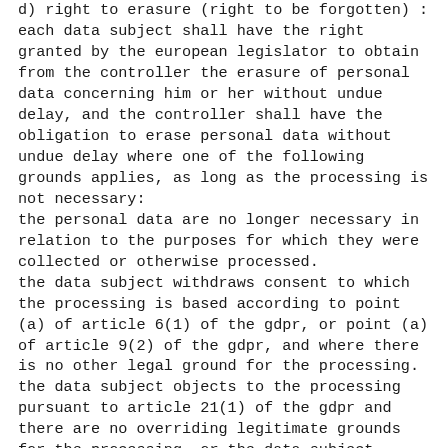d) right to erasure (right to be forgotten) : each data subject shall have the right granted by the european legislator to obtain from the controller the erasure of personal data concerning him or her without undue delay, and the controller shall have the obligation to erase personal data without undue delay where one of the following grounds applies, as long as the processing is not necessary:
the personal data are no longer necessary in relation to the purposes for which they were collected or otherwise processed.
the data subject withdraws consent to which the processing is based according to point (a) of article 6(1) of the gdpr, or point (a) of article 9(2) of the gdpr, and where there is no other legal ground for the processing.
the data subject objects to the processing pursuant to article 21(1) of the gdpr and there are no overriding legitimate grounds for the processing, or the data subject objects to the processing pursuant to article